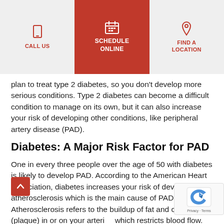CALL US | SCHEDULE ONLINE | FIND A LOCATION
plan to treat type 2 diabetes, so you don't develop more serious conditions. Type 2 diabetes can become a difficult condition to manage on its own, but it can also increase your risk of developing other conditions, like peripheral artery disease (PAD).
Diabetes: A Major Risk Factor for PAD
One in every three people over the age of 50 with diabetes is likely to develop PAD. According to the American Heart Association, diabetes increases your risk of developing atherosclerosis which is the main cause of PAD. Atherosclerosis refers to the buildup of fat and cholesterol (plaque) in or on your arteries which restricts blood flow. PAD occurs when arteries supplying blood to your limbs, most